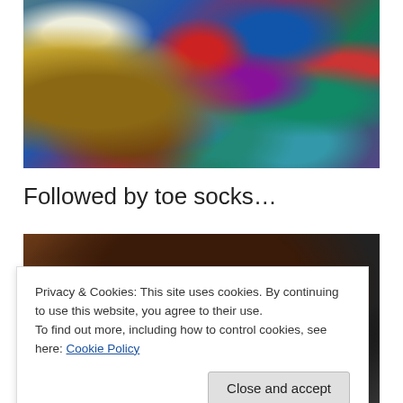[Figure (photo): Close-up photograph of colorful chunky crocheted or knitted yarn in shades of blue, teal, red, purple, green, and white, with a beaded textile visible on the left side.]
Followed by toe socks…
[Figure (photo): Partial photograph of a dark background, partially obscured by a cookie consent banner overlay.]
Privacy & Cookies: This site uses cookies. By continuing to use this website, you agree to their use.
To find out more, including how to control cookies, see here: Cookie Policy
Close and accept